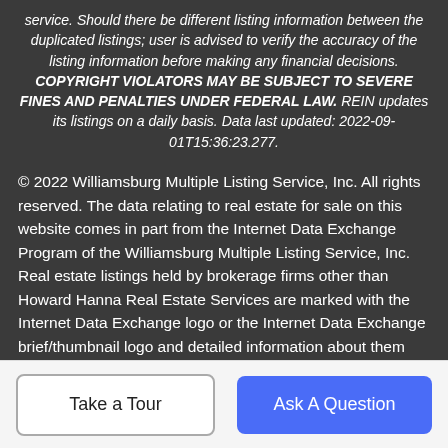service. Should there be different listing information between the duplicated listings; user is advised to verify the accuracy of the listing information before making any financial decisions. COPYRIGHT VIOLATORS MAY BE SUBJECT TO SEVERE FINES AND PENALTIES UNDER FEDERAL LAW. REIN updates its listings on a daily basis. Data last updated: 2022-09-01T15:36:23.277.
© 2022 Williamsburg Multiple Listing Service, Inc. All rights reserved. The data relating to real estate for sale on this website comes in part from the Internet Data Exchange Program of the Williamsburg Multiple Listing Service, Inc. Real estate listings held by brokerage firms other than Howard Hanna Real Estate Services are marked with the Internet Data Exchange logo or the Internet Data Exchange brief/thumbnail logo and detailed information about them includes the name of the listing firms. All information is deemed reliable but is not guaranteed. IDX information is provided exclusively for consumers' personal, non-commercial use and may
Take a Tour
Ask A Question